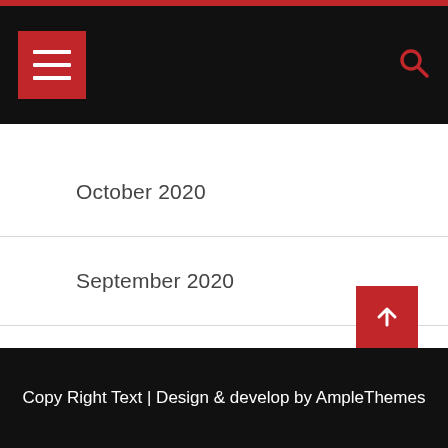Navigation header with hamburger menu and search icon
October 2020
September 2020
August 2020
July 2020
June 2020
May 2020
Copy Right Text | Design & develop by AmpleThemes